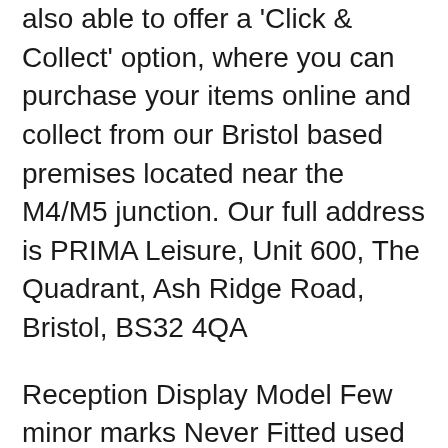also able to offer a 'Click & Collect' option, where you can purchase your items online and collect from our Bristol based premises located near the M4/M5 junction. Our full address is PRIMA Leisure, Unit 600, The Quadrant, Ash Ridge Road, Bristol, BS32 4QA
Reception Display Model Few minor marks Never Fitted used for demonstration and Training so practically New Sold as Seen You are welcome to visit THETFORD C200CW MANUAL CASSETTE TOILET WHITE WITHOUT DOOR. EB319SHOP. Thetford cassette toilet manual flush? The manual flush has lost pressure, i assume something has come adrift inside the tank, is the tank removable there are two screws by the flush handle but i can not see any